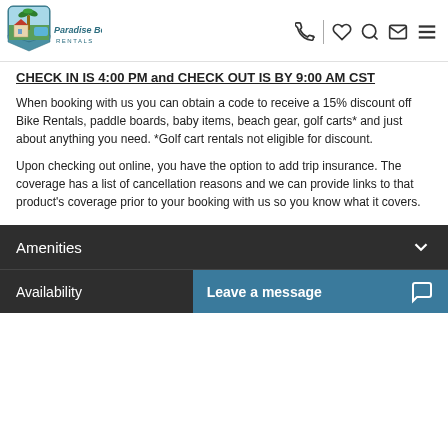Paradise Beach Rentals - navigation header with logo and icons
CHECK IN IS 4:00 PM and CHECK OUT IS BY 9:00 AM CST
When booking with us you can obtain a code to receive a 15% discount off Bike Rentals, paddle boards, baby items, beach gear, golf carts* and just about anything you need. *Golf cart rentals not eligible for discount.
Upon checking out online, you have the option to add trip insurance. The coverage has a list of cancellation reasons and we can provide links to that product's coverage prior to your booking with us so you know what it covers.
Amenities
Availability
Leave a message